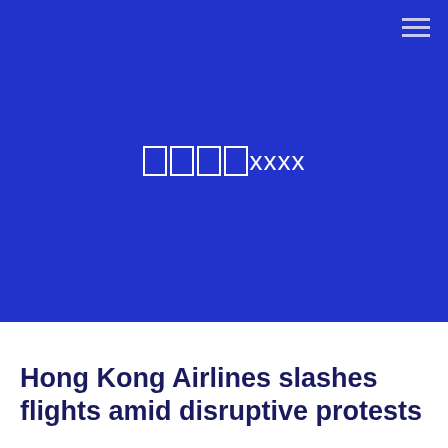[Figure (other): Blue background section with centered logo text showing boxes and 'xxxx' in white, and a hamburger menu icon in top right corner]
Hong Kong Airlines slashes flights amid disruptive protests